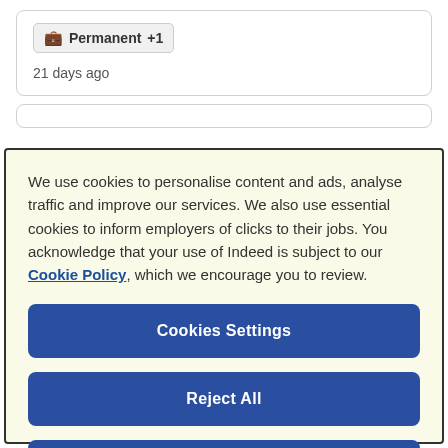🧳 Permanent +1
21 days ago
We use cookies to personalise content and ads, analyse traffic and improve our services. We also use essential cookies to inform employers of clicks to their jobs. You acknowledge that your use of Indeed is subject to our Cookie Policy, which we encourage you to review.
Cookies Settings
Reject All
Accept All Cookies